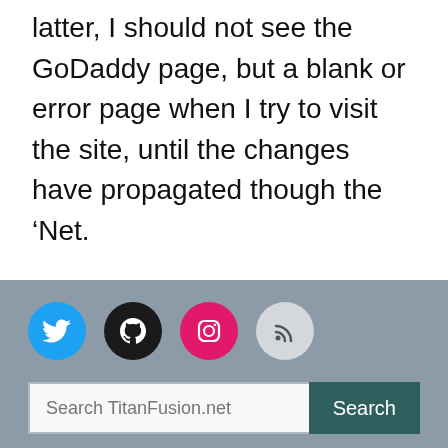latter, I should not see the GoDaddy page, but a blank or error page when I try to visit the site, until the changes have propagated though the ‘Net.
[Figure (other): Footer section with social media icons (Twitter, GitHub, Instagram, RSS) and a search bar with placeholder 'Search TitanFusion.net' and a Search button]